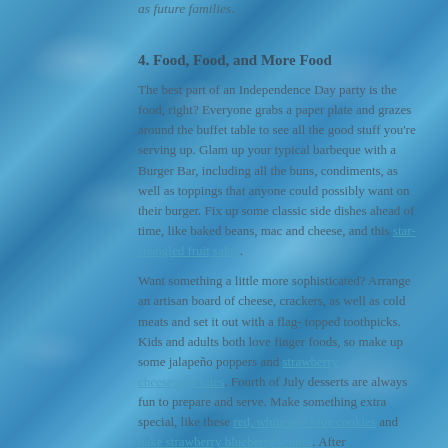as future families.
4. Food, Food, and More Food
The best part of an Independence Day party is the food, right? Everyone grabs a paper plate and grazes around the buffet table to see all the good stuff you're serving up. Glam up your typical barbeque with a Burger Bar, including all the buns, condiments, as well as toppings that anyone could possibly want on their burger. Fix up some classic side dishes ahead of time, like baked beans, mac and cheese, and this star-spangled fruit salad.

Want something a little more sophisticated? Arrange an artisan board of cheese, crackers, as well as cold meats and set it out with a flag-topped toothpicks. Kids and adults both love finger foods, so make up some jalapeño poppers and strawberry cheesecake bites. Fourth of July desserts are always fun to prepare and serve. Make something extra special, like these red, white and blue cookies and bake strawberry blueberry scones. After